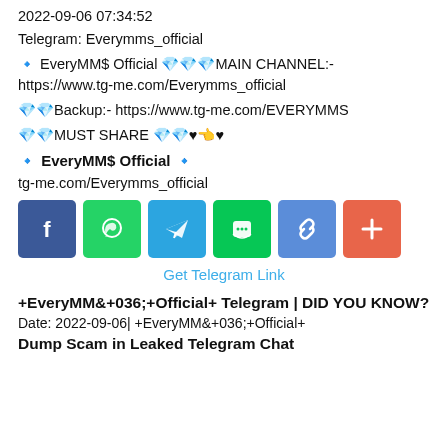2022-09-06 07:34:52
Telegram: Everymms_official
🔹 EveryMM$ Official 💎💎💎MAIN CHANNEL:- https://www.tg-me.com/Everymms_official
💎💎Backup:- https://www.tg-me.com/EVERYMMS
💎💎MUST SHARE 💎💎♥️👈♥
🔹 EveryMM$ Official 🔹
tg-me.com/Everymms_official
[Figure (other): Row of 6 social share buttons: Facebook (blue), WhatsApp (green), Telegram (blue), Line (green), Copy link (blue), More/Plus (orange-red)]
Get Telegram Link
+EveryMM&+036;+Official+ Telegram | DID YOU KNOW?
Date: 2022-09-06| +EveryMM&+036;+Official+
Dump Scam in Leaked Telegram Chat